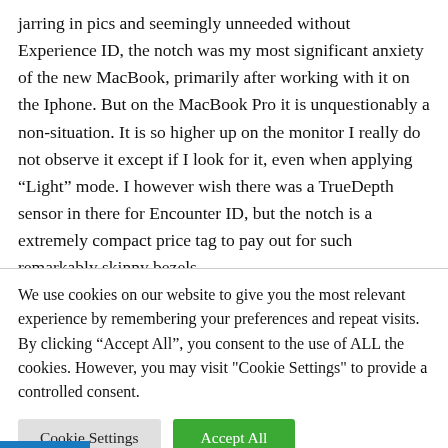jarring in pics and seemingly unneeded without Experience ID, the notch was my most significant anxiety of the new MacBook, primarily after working with it on the Iphone. But on the MacBook Pro it is unquestionably a non-situation. It is so higher up on the monitor I really do not observe it except if I look for it, even when applying “Light” mode. I however wish there was a TrueDepth sensor in there for Encounter ID, but the notch is a extremely compact price tag to pay out for such remarkably skinny bezels.
We use cookies on our website to give you the most relevant experience by remembering your preferences and repeat visits. By clicking “Accept All”, you consent to the use of ALL the cookies. However, you may visit "Cookie Settings" to provide a controlled consent.